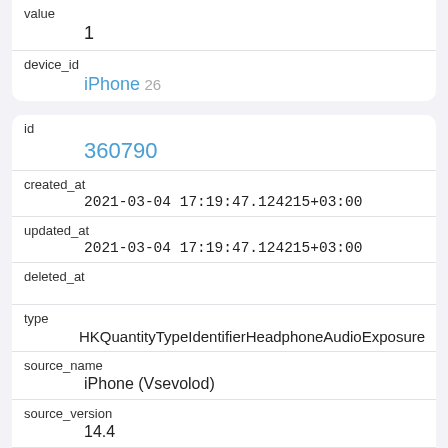| value | 1 |
| device_id | iPhone 26 |
| id | 360790 |
| created_at | 2021-03-04 17:19:47.124215+03:00 |
| updated_at | 2021-03-04 17:19:47.124215+03:00 |
| deleted_at |  |
| type | HKQuantityTypeIdentifierHeadphoneAudioExposure |
| source_name | iPhone (Vsevolod) |
| source_version | 14.4 |
| unit | dBASPL |